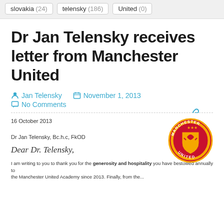slovakia (24)   telensky (186)   United (0)
Dr Jan Telensky receives letter from Manchester United
Jan Telensky   November 1, 2013   No Comments
[Figure (photo): Manchester United football club crest/logo — red shield with yellow devil, surrounded by text 'MANCHESTER UNITED']
16 October 2013

Dr Jan Telensky, Bc.h.c, FkOD

Dear Dr. Telensky,

I am writing to you to thank you for the generosity and hospitality you have bestowed annually to the Manchester United Academy since 2013. Finally, from the...